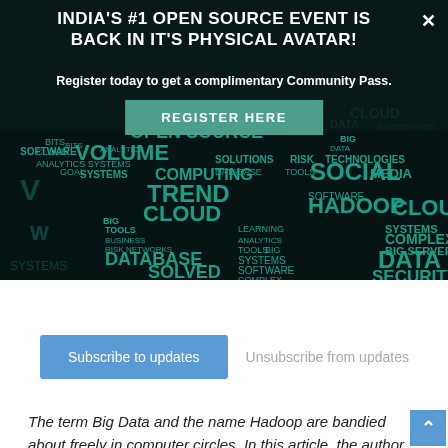INDIA'S #1 OPEN SOURCE EVENT IS BACK IN IT'S PHYSICAL AVATAR!
Register today to get a complimentary Community Pass.
[Figure (infographic): Word cloud on dark teal/black background with Big Data related terms: OPEN SOURCE, VOLUME, COMPUTING, SOCIAL, MEDIA, HADOOP, CLOUD, TREND, SYSTEMS, COMPLEX, DATABASE, SOLVED, DATA, SECURITY, BIG DATA, SOFTWARE, ANALYTICS, TOOLS, BUSINESS, RISK, NETWORKS, LEARNING, etc.]
Subscribe to updates    Unsubscribe from updates
The term Big Data and the name Hadoop are bandied about freely in computer circles. In this article, the author attempts to explain them in very simple terms.